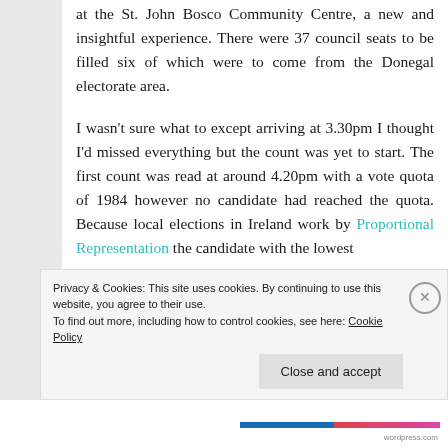at the St. John Bosco Community Centre, a new and insightful experience. There were 37 council seats to be filled six of which were to come from the Donegal electorate area.
I wasn't sure what to except arriving at 3.30pm I thought I'd missed everything but the count was yet to start. The first count was read at around 4.20pm with a vote quota of 1984 however no candidate had reached the quota. Because local elections in Ireland work by Proportional Representation the candidate with the lowest
Privacy & Cookies: This site uses cookies. By continuing to use this website, you agree to their use.
To find out more, including how to control cookies, see here: Cookie Policy
Close and accept